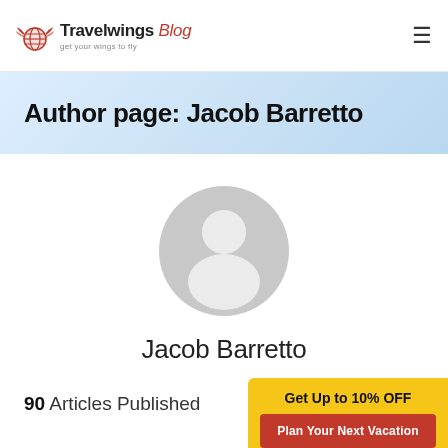Travelwings Blog — get your wings to fly
Author page: Jacob Barretto
[Figure (illustration): Generic grey placeholder avatar showing a silhouetted person (head and shoulders) on a circular grey background]
Jacob Barretto
90 Articles Published
Get Up to 10% OFF
Plan Your Next Vacation